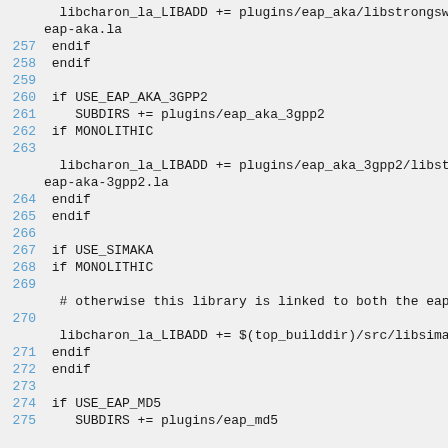libcharon_la_LIBADD += plugins/eap_aka/libstrongswan-eap-aka.la
257 endif
258 endif
259
260 if USE_EAP_AKA_3GPP2
261   SUBDIRS += plugins/eap_aka_3gpp2
262 if MONOLITHIC
263
  libcharon_la_LIBADD += plugins/eap_aka_3gpp2/libstrongswan-eap-aka-3gpp2.la
264 endif
265 endif
266
267 if USE_SIMAKA
268 if MONOLITHIC
269
  # otherwise this library is linked to both the eap_aka
270
  libcharon_la_LIBADD += $(top_builddir)/src/libsimaka/l
271 endif
272 endif
273
274 if USE_EAP_MD5
275   SUBDIRS += plugins/eap_md5